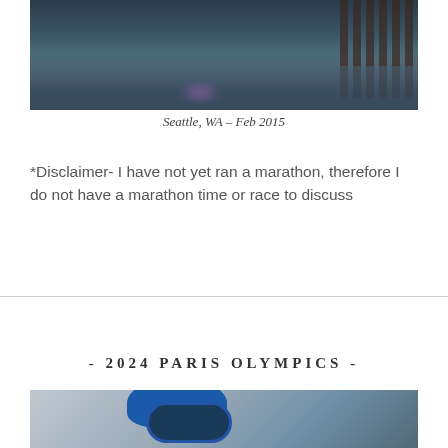[Figure (photo): Photo of a pier/dock over water in Seattle, WA with wooden pillars and reflections on the water surface]
Seattle, WA – Feb 2015
*Disclaimer- I have not yet ran a marathon, therefore I do not have a marathon time or race to discuss
- 2024 PARIS OLYMPICS -
[Figure (photo): Photo of a swimmer wearing a blue swim cap and goggles, related to 2024 Paris Olympics]